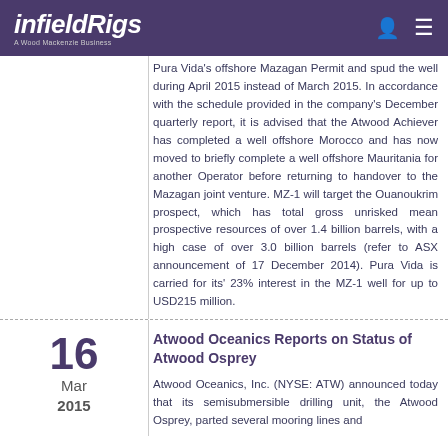infieldRigs — A Wood Mackenzie Business
Pura Vida's offshore Mazagan Permit and spud the well during April 2015 instead of March 2015. In accordance with the schedule provided in the company's December quarterly report, it is advised that the Atwood Achiever has completed a well offshore Morocco and has now moved to briefly complete a well offshore Mauritania for another Operator before returning to handover to the Mazagan joint venture. MZ-1 will target the Ouanoukrim prospect, which has total gross unrisked mean prospective resources of over 1.4 billion barrels, with a high case of over 3.0 billion barrels (refer to ASX announcement of 17 December 2014). Pura Vida is carried for its' 23% interest in the MZ-1 well for up to USD215 million.
Atwood Oceanics Reports on Status of Atwood Osprey
Atwood Oceanics, Inc. (NYSE: ATW) announced today that its semisubmersible drilling unit, the Atwood Osprey, parted several mooring lines and